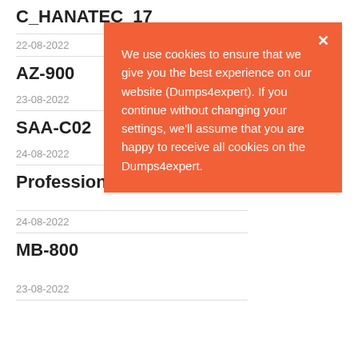C_HANATEC_17
22-08-2022
AZ-900
23-08-2022
SAA-C02
24-08-2022
Professional-C
24-08-2022
MB-800
23-08-2022
We use cookies to ensure that we give you the best experience on our website (Dumps4expert). If you continue without changing your settings, we'll assume that you are happy to receive all cookies on the Dumps4expert.